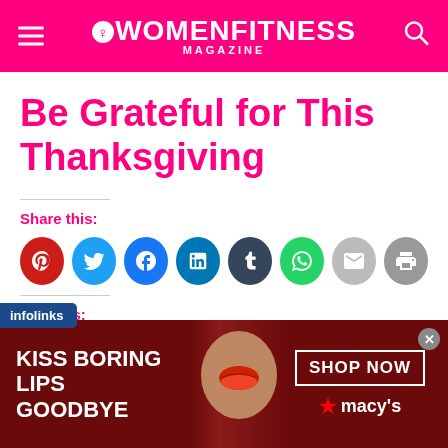WOMENFITNESS MAGAZINE
Be Grateful for This Thanksgiving
Share this:
[Figure (infographic): Social share icons: Pinterest (red), Twitter (blue), Facebook (blue), LinkedIn (dark blue), Tumblr (dark slate), WhatsApp (green), Email (gray), Print (gray)]
Like this:
Loading...
[Figure (infographic): Infolinks advertisement banner and Macy's lip product ad with text 'KISS BORING LIPS GOODBYE' and 'SHOP NOW ★ macy's']